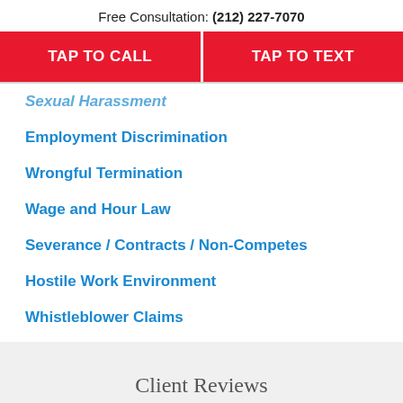Free Consultation: (212) 227-7070
TAP TO CALL
TAP TO TEXT
Sexual Harassment
Employment Discrimination
Wrongful Termination
Wage and Hour Law
Severance / Contracts / Non-Competes
Hostile Work Environment
Whistleblower Claims
Defamation
Client Reviews